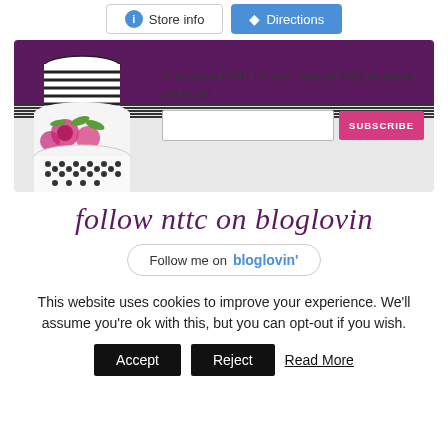[Figure (screenshot): Store info and Directions buttons at the top of the page]
[Figure (infographic): Subscribe to NTTC banner with decorative cake illustration, email input field and SUBSCRIBE button on purple/grey background]
follow nttc on bloglovin
[Figure (screenshot): Follow me on bloglovin' button with rounded border]
This website uses cookies to improve your experience. We'll assume you're ok with this, but you can opt-out if you wish.
[Figure (screenshot): Accept, Reject, and Read More cookie consent buttons]